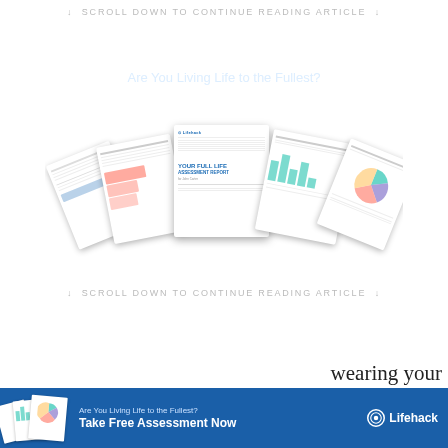↓ SCROLL DOWN TO CONTINUE READING ARTICLE ↓
[Figure (infographic): Lifehack branded promotional banner with blue gradient background. Shows Lifehack logo, tagline 'Are You Living Life to the Fullest?', CTA 'Take Free Assessment Now', and fanned-out assessment report documents.]
↓ SCROLL DOWN TO CONTINUE READING ARTICLE ↓
[Figure (infographic): Lifehack sticky bar at bottom with document thumbnails, tagline 'Are You Living Life to the Fullest?', CTA 'Take Free Assessment Now', and Lifehack logo.]
wearing your